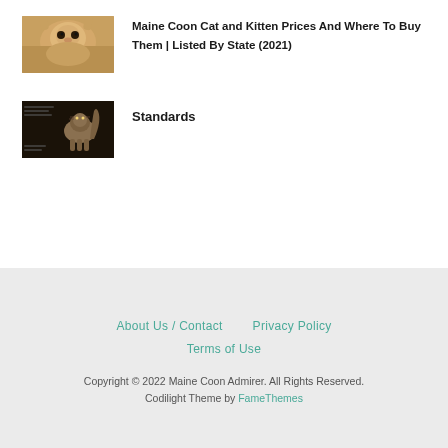[Figure (photo): Thumbnail photo of a Maine Coon cat with orange/cream fur looking directly at camera]
Maine Coon Cat and Kitten Prices And Where To Buy Them | Listed By State (2021)
[Figure (photo): Thumbnail photo of a tabby cat standing sideways with breed standard annotations overlaid on dark background]
Standards
About Us / Contact   Privacy Policy   Terms of Use   Copyright © 2022 Maine Coon Admirer. All Rights Reserved.   Codilight Theme by FameThemes